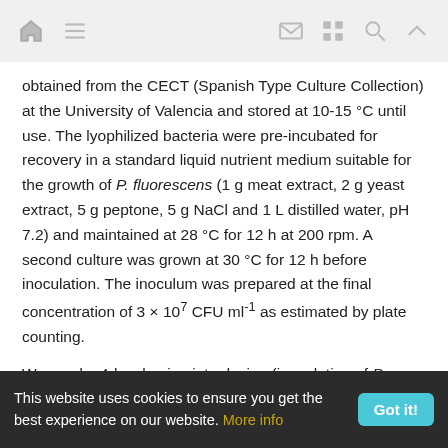navigation icons: home, menu, mail, grid, search, up
obtained from the CECT (Spanish Type Culture Collection) at the University of Valencia and stored at 10-15 °C until use. The lyophilized bacteria were pre-incubated for recovery in a standard liquid nutrient medium suitable for the growth of P. fluorescens (1 g meat extract, 2 g yeast extract, 5 g peptone, 5 g NaCl and 1 L distilled water, pH 7.2) and maintained at 28 °C for 12 h at 200 rpm. A second culture was grown at 30 °C for 12 h before inoculation. The inoculum was prepared at the final concentration of 3 × 10⁷ CFU ml⁻¹ as estimated by plate counting.
We used a 4-level univariate design (inoculation of P. fluorescens CECT 844 [Ps], T. melanosporum [T], T.
This website uses cookies to ensure you get the best experience on our website. More info